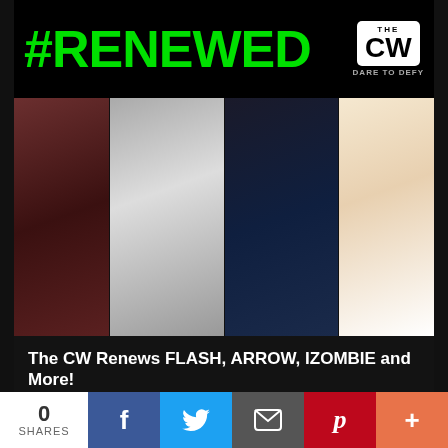#RENEWED
[Figure (photo): The CW #RENEWED banner with CW network logo (Dare to Defy). Below are show promo images including characters from various CW shows (The 100, iZombie, The Originals, Jane the Virgin, etc.)]
The CW Renews FLASH, ARROW, IZOMBIE and More!
March 11, 2016
0
[Figure (photo): Netflix logo on red background, partially visible at bottom of screen]
0 SHARES — Facebook, Twitter, Email, Pinterest, More share buttons